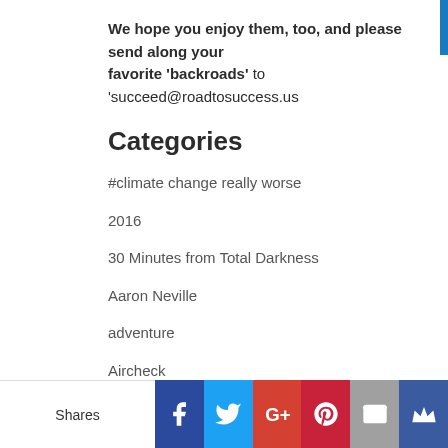We hope you enjoy them, too, and please send along your favorite 'backroads' to 'succeed@roadtosuccess.us
Categories
#climate change really worse
2016
30 Minutes from Total Darkness
Aaron Neville
adventure
Aircheck
Alameda Country Fair
Albany
American Graffiti
Shares | Facebook | Twitter | G+ | Pinterest | Email | Crown